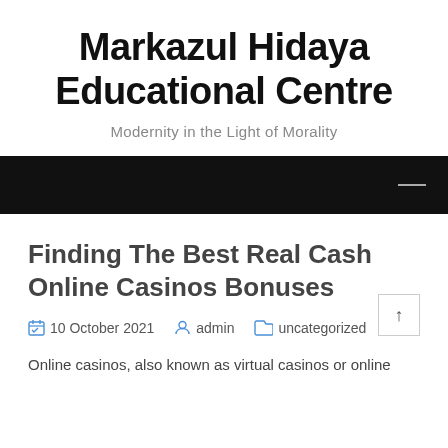Markazul Hidaya Educational Centre
Modernity in the Light of Morality
Finding The Best Real Cash Online Casinos Bonuses
10 October 2021   admin   uncategorized
Online casinos, also known as virtual casinos or online